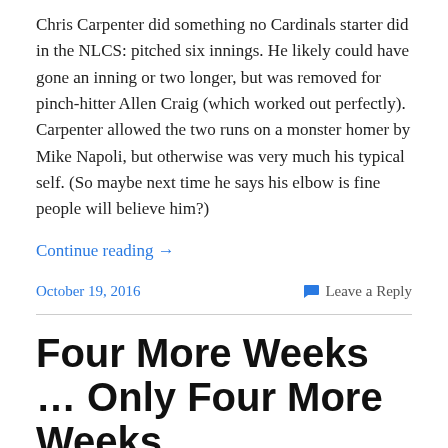Chris Carpenter did something no Cardinals starter did in the NLCS: pitched six innings. He likely could have gone an inning or two longer, but was removed for pinch-hitter Allen Craig (which worked out perfectly). Carpenter allowed the two runs on a monster homer by Mike Napoli, but otherwise was very much his typical self. (So maybe next time he says his elbow is fine people will believe him?)
Continue reading →
October 19, 2016
Leave a Reply
Four More Weeks … Only Four More Weeks